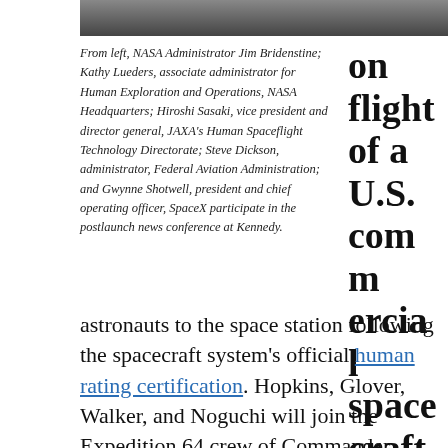[Figure (photo): Top portion of a NASA photo showing people at a postlaunch news conference at Kennedy Space Center]
From left, NASA Administrator Jim Bridenstine; Kathy Lueders, associate administrator for Human Exploration and Operations, NASA Headquarters; Hiroshi Sasaki, vice president and director general, JAXA's Human Spaceflight Technology Directorate; Steve Dickson, administrator, Federal Aviation Administration; and Gwynne Shotwell, president and chief operating officer, SpaceX participate in the postlaunch news conference at Kennedy.
on flight of a U.S. commercial spacecraft with astronauts to the space station following the spacecraft system's official human rating certification. Hopkins, Glover, Walker, and Noguchi will join the Expedition 64 crew of Commander Sergey Ryzhikov, and Flight Engineers Sergey Kud-Sverchkov and NASA astronaut Kate Rubins. The arrival of Crew-1